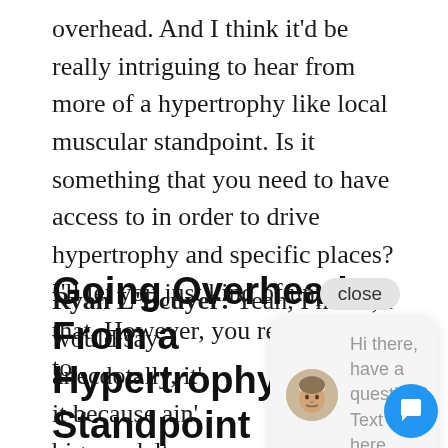overhead. And I think it'd be really intriguing to hear from more of a hypertrophy like local muscular standpoint. Is it something that you need to have access to in order to drive hypertrophy and specific places? I'll let you just kind of unpack that. However, you really want to.
Ryan L'Ecuyer: Yeah, I mean, I would say anecdotally, it' it because ain' big ass delts o
[Figure (other): Chat popup widget with close button, avatar photo of a man with a headband, and text 'Hi there, have a question? Text us here.' Also a blue circular chat button with speech bubble icon in bottom right.]
Going Overhead From a Hypertrophy Standpoint